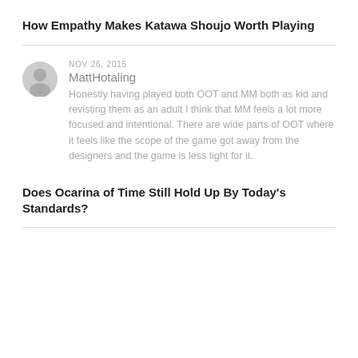How Empathy Makes Katawa Shoujo Worth Playing
NOV 26, 2015
MattHotaling
Honestly having played both OOT and MM both as kid and revisting them as an adult I think that MM feels a lot more focused and intentional. There are wide parts of OOT where it feels like the scope of the game got away from the designers and the game is less tight for it.
Does Ocarina of Time Still Hold Up By Today's Standards?